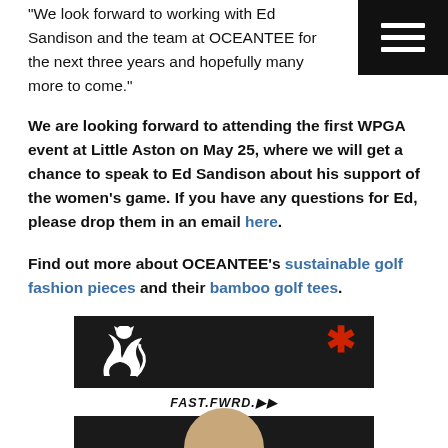“We look forward to working with Ed Sandison and the team at OCEANTEE for the next three years and hopefully many more to come.”
We are looking forward to attending the first WPGA event at Little Aston on May 25, where we will get a chance to speak to Ed Sandison about his support of the women’s game. If you have any questions for Ed, please drop them in an email here.
Find out more about OCEANTEE’s sustainable golf fashion pieces and their bamboo golf tees.
[Figure (photo): Dark background promotional photo with Puma logo (white leaping cat), red asterisk, FAST.FWRD text on white strip, and partial view of a person at the bottom]